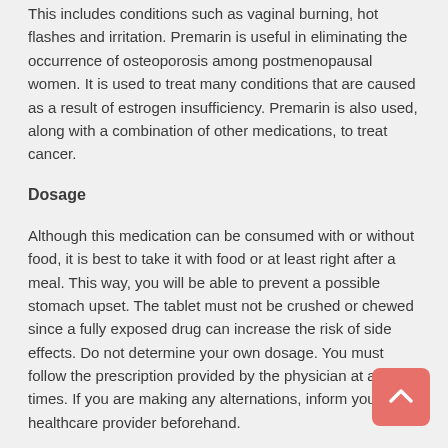This includes conditions such as vaginal burning, hot flashes and irritation. Premarin is useful in eliminating the occurrence of osteoporosis among postmenopausal women. It is used to treat many conditions that are caused as a result of estrogen insufficiency. Premarin is also used, along with a combination of other medications, to treat cancer.
Dosage
Although this medication can be consumed with or without food, it is best to take it with food or at least right after a meal. This way, you will be able to prevent a possible stomach upset. The tablet must not be crushed or chewed since a fully exposed drug can increase the risk of side effects. Do not determine your own dosage. You must follow the prescription provided by the physician at all times. If you are making any alternations, inform your healthcare provider beforehand.
This drug must be consumed regularly in order to experience its best benefits. Taking the medication at the same time every day can prevent you from accidently skipping your dose. Do not take more Premarin than the prescribed dose. This can increase the possibility of getting affected by the side effects.
Side Effects